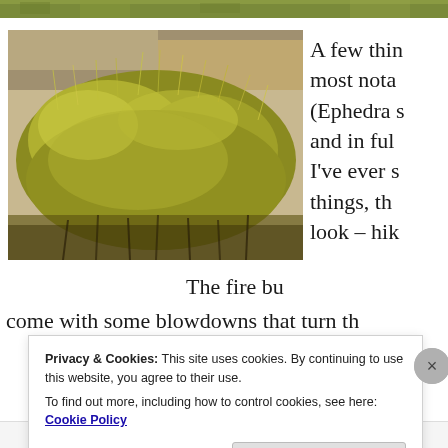[Figure (photo): Top cropped strip of green/yellow grass or shrub vegetation]
[Figure (photo): Close-up photograph of dry yellow-green grass or shrub (possibly Ephedra species) with rocks visible at the base]
A few thin most nota (Ephedra s and in ful I've ever s things, th look – hik
The fire bu come with some blowdowns that turn th
Privacy & Cookies: This site uses cookies. By continuing to use this website, you agree to their use.
To find out more, including how to control cookies, see here: Cookie Policy
Close and accept